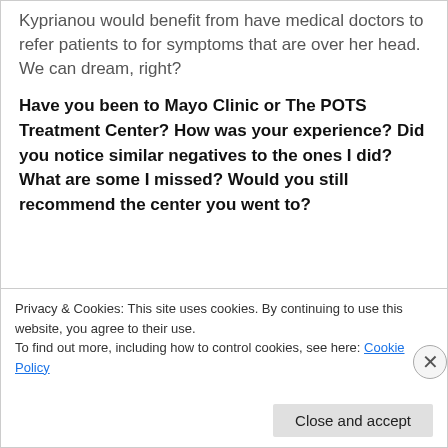Kyprianou would benefit from have medical doctors to refer patients to for symptoms that are over her head. We can dream, right?
Have you been to Mayo Clinic or The POTS Treatment Center? How was your experience? Did you notice similar negatives to the ones I did? What are some I missed? Would you still recommend the center you went to?
Privacy & Cookies: This site uses cookies. By continuing to use this website, you agree to their use.
To find out more, including how to control cookies, see here: Cookie Policy
Close and accept